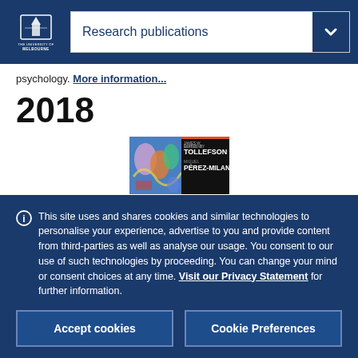Research publications
psychology. More information...
2018
[Figure (photo): Book cover with colorful artwork and text: TOLLEFSON, PÉREZ-MILANS]
This site uses and shares cookies and similar technologies to personalise your experience, advertise to you and provide content from third-parties as well as analyse our usage. You consent to our use of such technologies by proceeding. You can change your mind or consent choices at any time. Visit our Privacy Statement for further information.
Accept cookies
Cookie Preferences